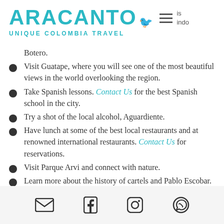ARACANTO UNIQUE COLOMBIA TRAVEL
indo Botero.
Visit Guatape, where you will see one of the most beautiful views in the world overlooking the region.
Take Spanish lessons. Contact Us for the best Spanish school in the city.
Try a shot of the local alcohol, Aguardiente.
Have lunch at some of the best local restaurants and at renowned international restaurants. Contact Us for reservations.
Visit Parque Arvi and connect with nature.
Learn more about the history of cartels and Pablo Escobar. Contact Us to do this with
Email | Facebook | Instagram | WhatsApp icons